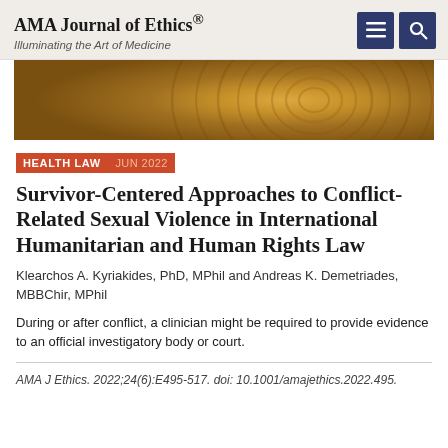AMA Journal of Ethics® Illuminating the Art of Medicine
[Figure (photo): Close-up of wood grain with circular ring patterns in warm brown and golden tones]
HEALTH LAW JUN 2022
Survivor-Centered Approaches to Conflict-Related Sexual Violence in International Humanitarian and Human Rights Law
Klearchos A. Kyriakides, PhD, MPhil and Andreas K. Demetriades, MBBChir, MPhil
During or after conflict, a clinician might be required to provide evidence to an official investigatory body or court.
AMA J Ethics. 2022;24(6):E495-517. doi: 10.1001/amajethics.2022.495.